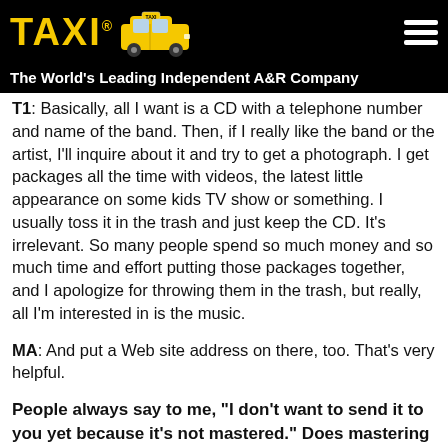[Figure (logo): TAXI logo with yellow taxi cab image on black background]
The World's Leading Independent A&R Company
T1: Basically, all I want is a CD with a telephone number and name of the band. Then, if I really like the band or the artist, I'll inquire about it and try to get a photograph. I get packages all the time with videos, the latest little appearance on some kids TV show or something. I usually toss it in the trash and just keep the CD. It's irrelevant. So many people spend so much money and so much time and effort putting those packages together, and I apologize for throwing them in the trash, but really, all I'm interested in is the music.
MA: And put a Web site address on there, too. That's very helpful.
People always say to me, "I don't want to send it to you yet because it's not mastered." Does mastering mean anything to any of you guys at all?